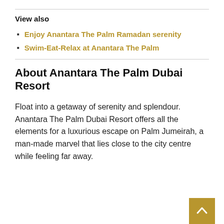View also
Enjoy Anantara The Palm Ramadan serenity
Swim-Eat-Relax at Anantara The Palm
About Anantara The Palm Dubai Resort
Float into a getaway of serenity and splendour. Anantara The Palm Dubai Resort offers all the elements for a luxurious escape on Palm Jumeirah, a man-made marvel that lies close to the city centre while feeling far away.